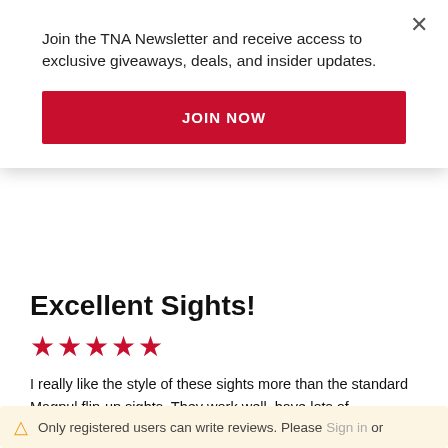Join the TNA Newsletter and receive access to exclusive giveaways, deals, and insider updates.
JOIN NOW
Excellent Sights!
★★★★★
I really like the style of these sights more than the standard Magpul flip-up sights. They work well, have lots of adjustment and are priced right. FAB Defence is no slouch, and I expect these will last a lifetime. The fit and work well on the rifle I bought them for. A+!
Review by Ben
1 Item
Only registered users can write reviews. Please Sign in or